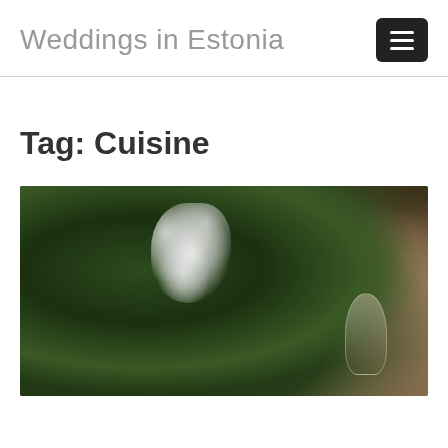Weddings in Estonia
Tag: Cuisine
[Figure (photo): Wedding table setting with green foliage branches with small white flowers in the foreground and wine glasses visible in the background, warm bokeh background]